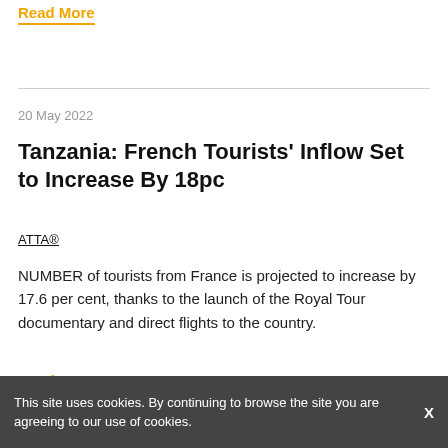Read More
20 May 2022
Tanzania: French Tourists' Inflow Set to Increase By 18pc
ATTA®
NUMBER of tourists from France is projected to increase by 17.6 per cent, thanks to the launch of the Royal Tour documentary and direct flights to the country.
Read More
This site uses cookies. By continuing to browse the site you are agreeing to our use of cookies.